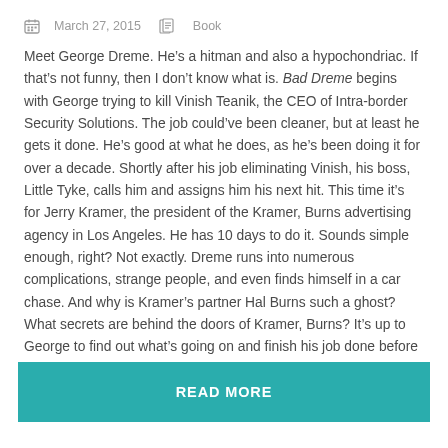March 27, 2015   Book
Meet George Dreme. He’s a hitman and also a hypochondriac. If that’s not funny, then I don’t know what is. Bad Dreme begins with George trying to kill Vinish Teanik, the CEO of Intra-border Security Solutions. The job could’ve been cleaner, but at least he gets it done. He’s good at what he does, as he’s been doing it for over a decade. Shortly after his job eliminating Vinish, his boss, Little Tyke, calls him and assigns him his next hit. This time it’s for Jerry Kramer, the president of the Kramer, Burns advertising agency in Los Angeles. He has 10 days to do it. Sounds simple enough, right? Not exactly. Dreme runs into numerous complications, strange people, and even finds himself in a car chase. And why is Kramer’s partner Hal Burns such a ghost? What secrets are behind the doors of Kramer, Burns? It’s up to George to find out what’s going on and finish his job done before time runs out.
READ MORE